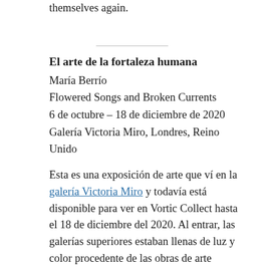themselves again.
El arte de la fortaleza humana
María Berrío
Flowered Songs and Broken Currents
6 de octubre – 18 de diciembre de 2020
Galería Victoria Miro, Londres, Reino Unido
Esta es una exposición de arte que ví en la galería Victoria Miro y todavía está disponible para ver en Vortic Collect hasta el 18 de diciembre del 2020. Al entrar, las galerías superiores estaban llenas de luz y color procedente de las obras de arte creadas por María Berrío, artista colombiana ubicada en Brooklyn, Nueva York. Se puede está de la